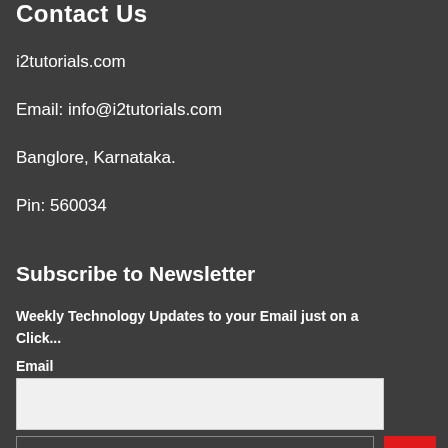Contact Us
i2tutorials.com
Email: info@i2tutorials.com
Banglore, Karnataka.
Pin: 560034
Subscribe to Newsletter
Weekly Technology Updates to your Email just on a Click...
Email
[Figure (other): Empty email input text field]
[Figure (other): Subscribe button and back-to-top red arrow button]